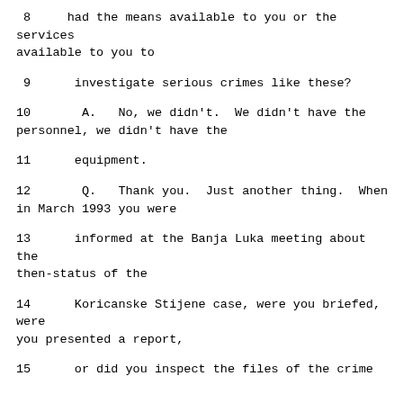8      had the means available to you or the services available to you to
9      investigate serious crimes like these?
10       A.   No, we didn't.  We didn't have the personnel, we didn't have the
11      equipment.
12       Q.   Thank you.  Just another thing.  When in March 1993 you were
13      informed at the Banja Luka meeting about the then-status of the
14      Koricanske Stijene case, were you briefed, were you presented a report,
15      or did you inspect the files of the crime